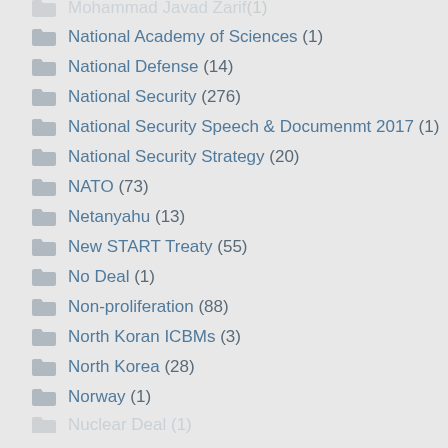Mohammad Javad Zarif (1)
National Academy of Sciences (1)
National Defense (14)
National Security (276)
National Security Speech & Documenmt 2017 (1)
National Security Strategy (20)
NATO (73)
Netanyahu (13)
New START Treaty (55)
No Deal (1)
Non-proliferation (88)
North Koran ICBMs (3)
North Korea (28)
Norway (1)
Nuclear Deal (1)